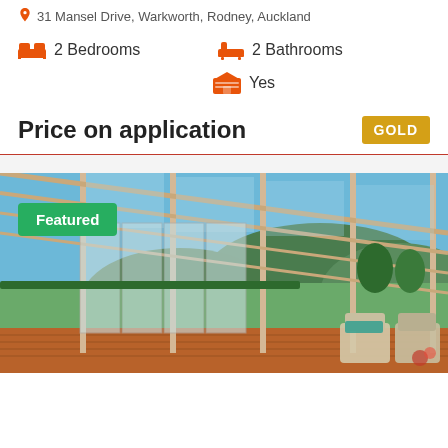31 Mansel Drive, Warkworth, Rodney, Auckland
2 Bedrooms
2 Bathrooms
Yes (Garage)
Price on application
GOLD
[Figure (photo): Outdoor pergola/glass-roofed deck area with wicker furniture, wooden decking, and scenic green hillside and coastal views in the background. Featured property listing photo.]